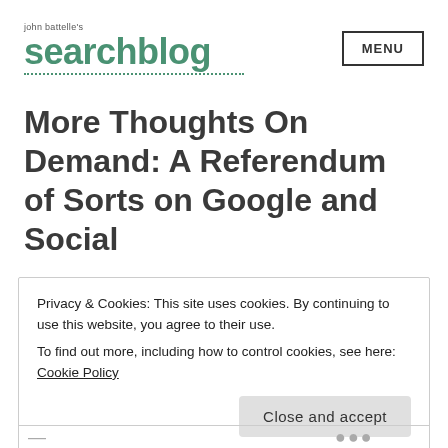john battelle's searchblog | MENU
More Thoughts On Demand: A Referendum of Sorts on Google and Social
Privacy & Cookies: This site uses cookies. By continuing to use this website, you agree to their use.
To find out more, including how to control cookies, see here: Cookie Policy
Close and accept